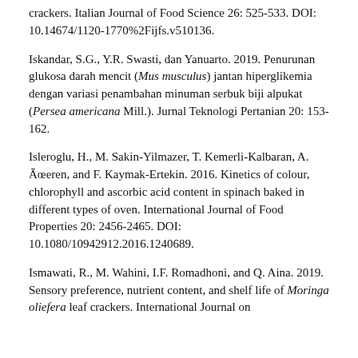crackers. Italian Journal of Food Science 26: 525-533. DOI: 10.14674/1120-1770%2Fijfs.v510136.
Iskandar, S.G., Y.R. Swasti, dan Yanuarto. 2019. Penurunan glukosa darah mencit (Mus musculus) jantan hiperglikemia dengan variasi penambahan minuman serbuk biji alpukat (Persea americana Mill.). Jurnal Teknologi Pertanian 20: 153-162.
Isleroglu, H., M. Sakin-Yilmazer, T. Kemerli-Kalbaran, A. Āœeren, and F. Kaymak-Ertekin. 2016. Kinetics of colour, chlorophyll and ascorbic acid content in spinach baked in different types of oven. International Journal of Food Properties 20: 2456-2465. DOI: 10.1080/10942912.2016.1240689.
Ismawati, R., M. Wahini, I.F. Romadhoni, and Q. Aina. 2019. Sensory preference, nutrient content, and shelf life of Moringa oliefera leaf crackers. International Journal on